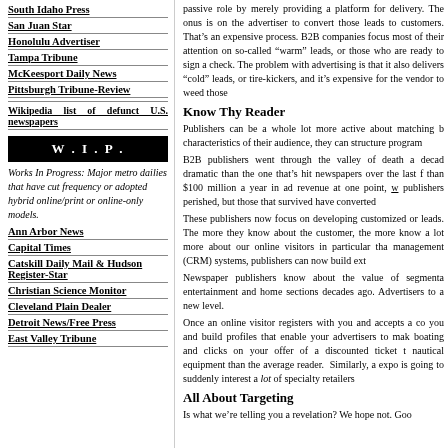South Idaho Press
San Juan Star
Honolulu Advertiser
Tampa Tribune
McKeesport Daily News
Pittsburgh Tribune-Review
Wikipedia list of defunct U.S. newspapers
W.I.P.
Works In Progress: Major metro dailies that have cut frequency or adopted hybrid online/print or online-only models.
Ann Arbor News
Capital Times
Catskill Daily Mail & Hudson Register-Star
Christian Science Monitor
Cleveland Plain Dealer
Detroit News/Free Press
East Valley Tribune
passive role by merely providing a platform for delivery. The onus is on the advertiser to convert those leads to customers. That's an expensive process. B2B companies focus most of their attention on so-called “warm” leads, or those who are ready to sign a check. The problem with advertising is that it also delivers “cold” leads, or tire-kickers, and it’s expensive for the vendor to weed those
Know Thy Reader
Publishers can be a whole lot more active about matching the characteristics of their audience, they can structure programs
B2B publishers went through the valley of death a decade ago, more dramatic than the one that’s hit newspapers over the last few years. More than $100 million a year in ad revenue at one point, w publishers perished, but those that survived have converted
These publishers now focus on developing customized offers and leads. The more they know about the customer, the more know a lot more about our online visitors in particular than management (CRM) systems, publishers can now build ext
Newspaper publishers know about the value of segmentation entertainment and home sections decades ago. Advertisers to a new level.
Once an online visitor registers with you and accepts a cookie, you and build profiles that enable your advertisers to make boating and clicks on your offer of a discounted ticket to nautical equipment than the average reader.  Similarly, a expo is going to suddenly interest a lot of specialty retailers
All About Targeting
Is what we’re telling you a revelation? We hope not. Good